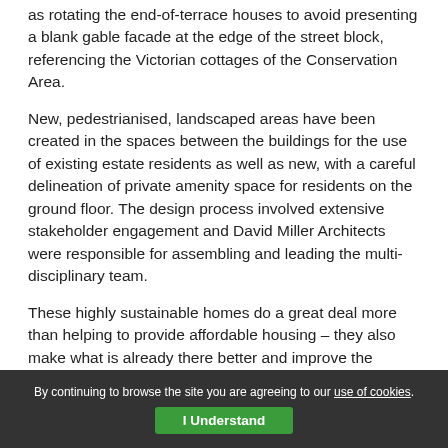as rotating the end-of-terrace houses to avoid presenting a blank gable facade at the edge of the street block, referencing the Victorian cottages of the Conservation Area.
New, pedestrianised, landscaped areas have been created in the spaces between the buildings for the use of existing estate residents as well as new, with a careful delineation of private amenity space for residents on the ground floor. The design process involved extensive stakeholder engagement and David Miller Architects were responsible for assembling and leading the multi-disciplinary team.
These highly sustainable homes do a great deal more than helping to provide affordable housing – they also make what is already there better and improve the experience for everyone living on the estate, a need that has come into even sharper focus over the last few months.
For more information on the project, click here.
By continuing to browse the site you are agreeing to our use of cookies. I Understand